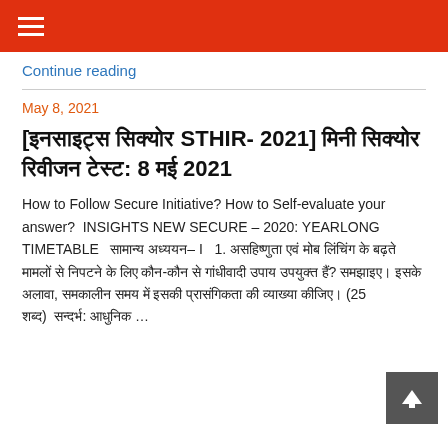☰ (navigation menu)
Continue reading
May 8, 2021
[इनसाइट्स सिक्योर STHIR- 2021] मिनी सिक्योर रिवीजन टेस्ट: 8 मई 2021
How to Follow Secure Initiative? How to Self-evaluate your answer?  INSIGHTS NEW SECURE – 2020: YEARLONG TIMETABLE   सामान्य अध्ययन– I   1. असहिष्णुता एवं मोब लिंचिंग के बढ़ते मामलों से निपटने के लिए कौन-कौन से गांधीवादी उपाय उपयुक्त हैं? समझाइए। इसके अलावा, समकालीन समय में इसकी प्रासंगिकता की व्याख्या कीजिए। (250 शब्द)  सन्दर्भ: आधुनिक …